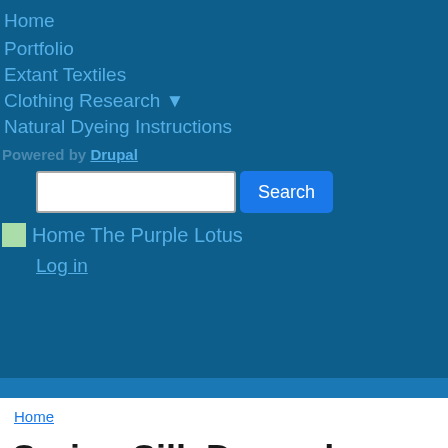Home
Portfolio
Extant Textiles
Clothing Research ▾
Natural Dyeing Instructions
Powered by Drupal
[Figure (screenshot): Search bar with white input field and blue Search button]
Home The Purple Lotus
Log in
Home
Syrian Silk Damask